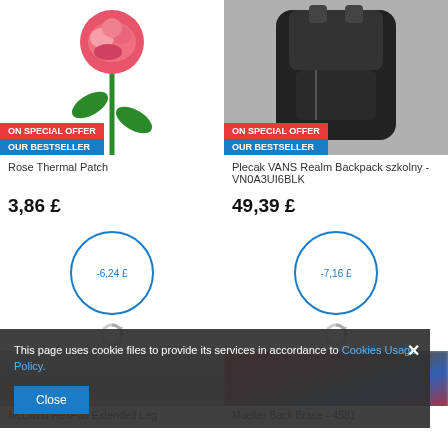[Figure (photo): Rose embroidered thermal patch on white background with red 'ON SPECIAL OFFER' and blue 'OUR BESTSELLER' badges]
[Figure (photo): Black VANS Realm Backpack on grey background with red 'ON SPECIAL OFFER' and blue 'OUR BESTSELLER' badges]
Rose Thermal Patch
Plecak VANS Realm Backpack szkolny - VN0A3UI6BLK
3,86 £
49,39 £
-6,24 £
-7,16 £
[Figure (photo): Blurred product image (McDavid HexPad Extended Leg)]
[Figure (photo): Blurred product image (Mueller Back Brace - 4581)]
This page uses cookie files to provide its services in accordance to Cookies Usage Policy.
Close
McDavid HexPad Extended Leg
Mueller Back Brace - 4581